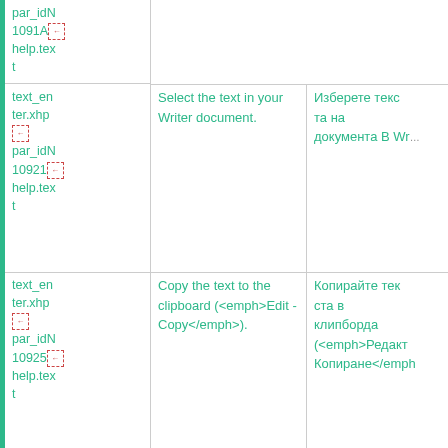| ID/File | English | Translation |
| --- | --- | --- |
| par_idN
1091A
help.text |  |  |
| text_enter.xhp
par_idN
10921
help.text | Select the text in your Writer document. | Изберете текста на документа В Writer |
| text_enter.xhp
par_idN
10925
help.text | Copy the text to the clipboard (<emph>Edit - Copy</emph>). | Копирайте текста в клипборда (<emph>Редактиране - Копиране</emph>) |